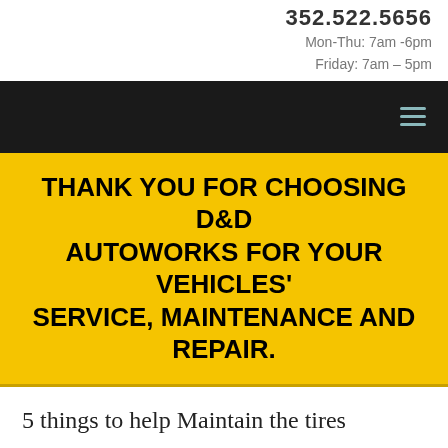352.522.5656
Mon-Thu: 7am -6pm
Friday: 7am – 5pm
[Figure (other): Dark navigation bar with hamburger menu icon (three horizontal lines in teal/blue color)]
THANK YOU FOR CHOOSING D&D AUTOWORKS FOR YOUR VEHICLES' SERVICE, MAINTENANCE AND REPAIR.
5 things to help Maintain the tires
by blogmaster | Jul 28, 2017 | Car Care Tips, General Car Maintenance, Safe Driving Tips, Tire Repair